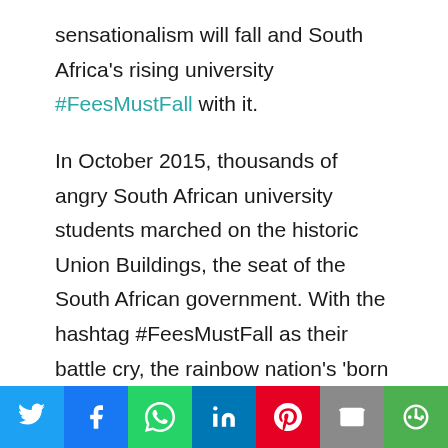sensationalism will fall and South Africa's rising university #FeesMustFall with it.

In October 2015, thousands of angry South African university students marched on the historic Union Buildings, the seat of the South African government. With the hashtag #FeesMustFall as their battle cry, the rainbow nation's 'born free' generation marched against university fee hikes and the pervasive inequalities that persist two decades after the end of apartheid.
Social share bar: Twitter, Facebook, WhatsApp, LinkedIn, Pinterest, Email, More